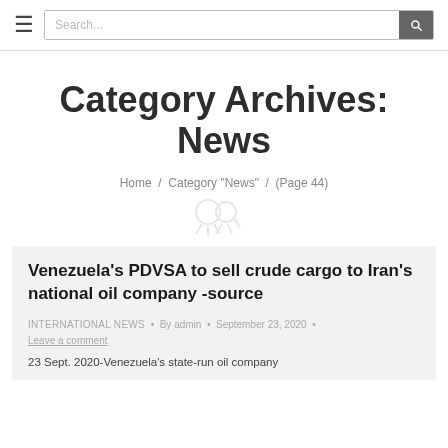Search...
Category Archives: News
Home / Category "News" / (Page 44)
[Figure (illustration): Faint watermark/logo illustration in light grey]
Venezuela's PDVSA to sell crude cargo to Iran's national oil company -source
INTERNATIONAL NEWS • By admin • September 23, 2020 • Leave a comment
23 Sept. 2020-Venezuela's state-run oil company